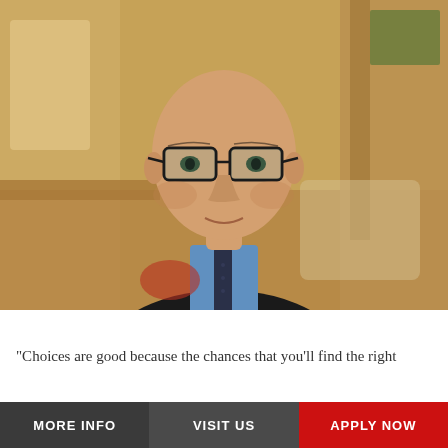[Figure (photo): Portrait photo of a middle-aged bald man wearing black-rimmed glasses, a blue button-down shirt, dark blazer, and dark patterned tie, set against a warm blurred interior background with wooden furniture.]
"Choices are good because the chances that you'll find the right
MORE INFO
VISIT US
APPLY NOW